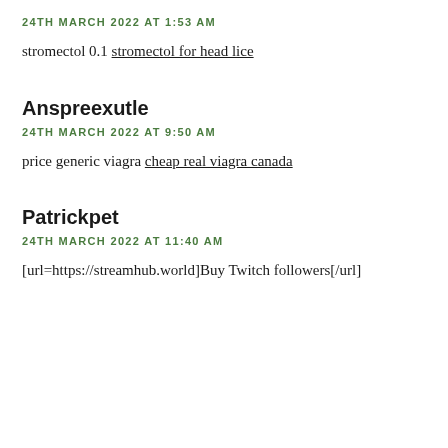24TH MARCH 2022 AT 1:53 AM
stromectol 0.1 stromectol for head lice
Anspreexutle
24TH MARCH 2022 AT 9:50 AM
price generic viagra cheap real viagra canada
Patrickpet
24TH MARCH 2022 AT 11:40 AM
[url=https://streamhub.world]Buy Twitch followers[/url]